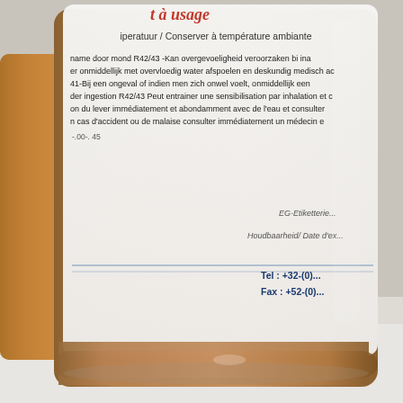[Figure (photo): Photo of a chemical/pharmaceutical bottle with a white label containing safety warnings in Dutch and French. The label includes text about R42/43 hazard codes, storage at ambient temperature, and contact information with Tel and Fax numbers. The bottle contains an amber/brownish liquid. There is another bottle partially visible on the left side. The scene is photographed on a white surface.]